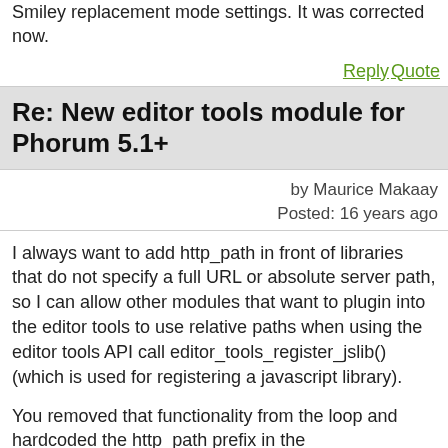Smiley replacement mode settings. It was corrected now.
Reply Quote
Re: New editor tools module for Phorum 5.1+
by Maurice Makaay
Posted: 16 years ago
I always want to add http_path in front of libraries that do not specify a full URL or absolute server path, so I can allow other modules that want to plugin into the editor tools to use relative paths when using the editor tools API call editor_tools_register_jslib() (which is used for registering a javascript library).
You removed that functionality from the loop and hardcoded the http_path prefix in the color_functions.js definition. Therefore the main